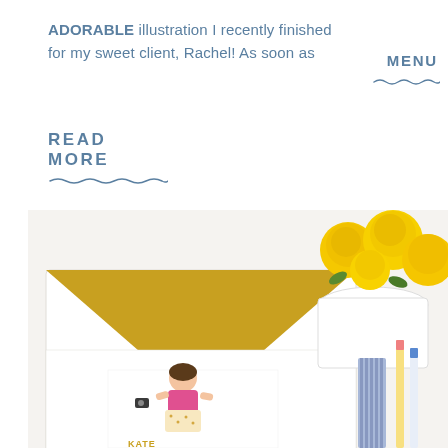ADORABLE illustration I recently finished for my sweet client, Rachel! As soon as  MENU
READ
MORE
[Figure (photo): Photo of an open envelope with a gold interior and an illustrated card of a woman peeking out, alongside yellow roses in a white cup and blue striped ribbon with pencils on a white surface.]